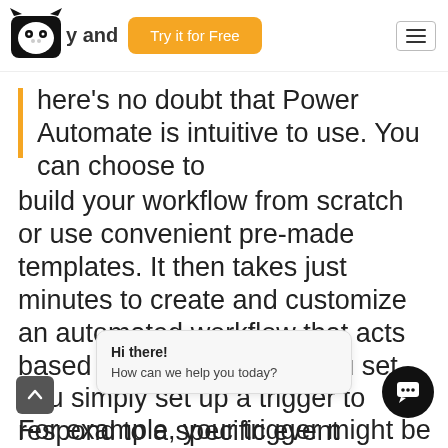y and  Try it for Free
here's no doubt that Power Automate is intuitive to use. You can choose to build your workflow from scratch or use convenient pre-made templates. It then takes just minutes to create and customize an automated workflow that acts based on the conditions you set. You simply set up a trigger to respond to a specific event
Hi there!
How can we help you today?
For example, your trigger might be the